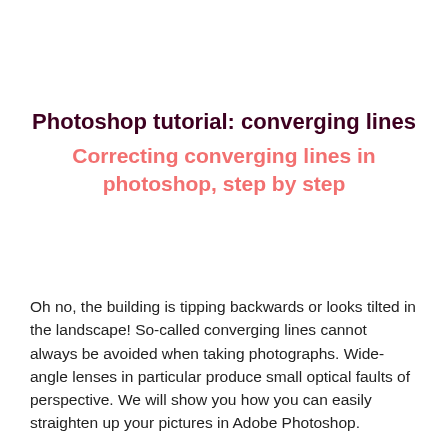Photoshop tutorial: converging lines
Correcting converging lines in photoshop, step by step
Oh no, the building is tipping backwards or looks tilted in the landscape! So-called converging lines cannot always be avoided when taking photographs. Wide-angle lenses in particular produce small optical faults of perspective. We will show you how you can easily straighten up your pictures in Adobe Photoshop.